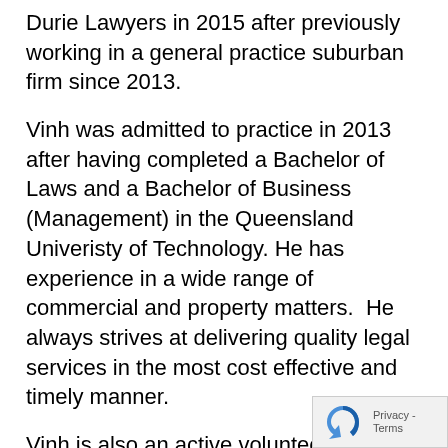Durie Lawyers in 2015 after previously working in a general practice suburban firm since 2013.
Vinh was admitted to practice in 2013 after having completed a Bachelor of Laws and a Bachelor of Business (Management) in the Queensland Univeristy of Technology. He has experience in a wide range of commercial and property matters. He always strives at delivering quality legal services in the most cost effective and timely manner.
Vinh is also an active volunteer at Logan YFS Legal Community Centre as a pro bono solicitor in the areas of family law and general civil matters. He is also fluent in and is able to provide sound legal advice in the Vietnamese language.
Professional Experience
Residential and Commercial Conveyancing
Commercial and Retail Shop Leases both for Landlo...
Tenants